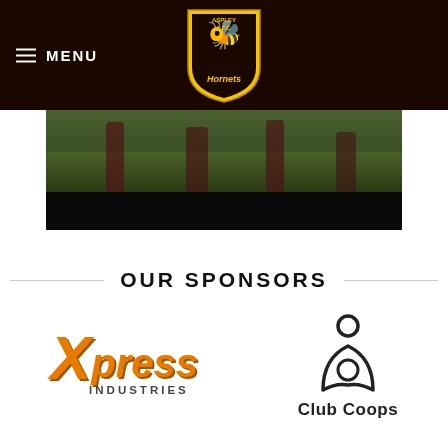MENU — Aspley AFC Hornets logo
[Figure (photo): Cropped photo of rugby/AFL players on a grass field, lower bodies visible, dark bottom border]
OUR SPONSORS
[Figure (logo): Xpress Industries logo — stylized orange italic text with X and press stacked, INDUSTRIES in grey below]
[Figure (logo): Club Coops logo — abstract dark triangular/rounded figure mark above 'Club Coops' text]